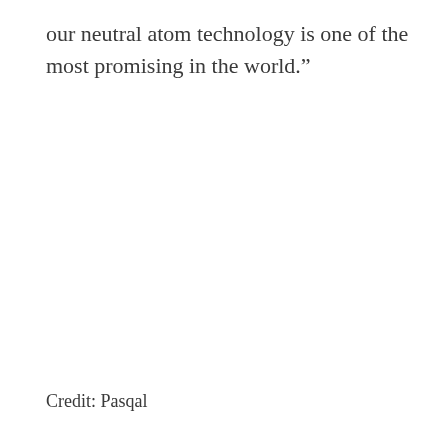our neutral atom technology is one of the most promising in the world.”
Credit: Pasqal